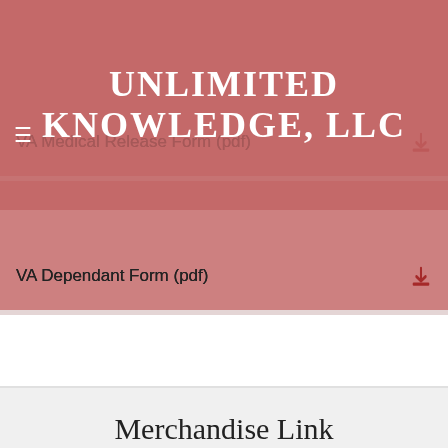VA Medical Release Form (pdf)
VA Dependant Form (pdf)
VA Loan Certificate (pdf)
VA Service Records Request (pdf)
VA Discharge UpGrade (pdf)
Merchandise Link